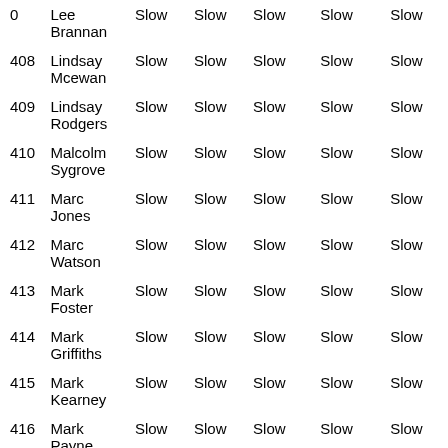| 0 | Lee Brannan | Slow | Slow | Slow | Slow | Slow |
| 408 | Lindsay Mcewan | Slow | Slow | Slow | Slow | Slow |
| 409 | Lindsay Rodgers | Slow | Slow | Slow | Slow | Slow |
| 410 | Malcolm Sygrove | Slow | Slow | Slow | Slow | Slow |
| 411 | Marc Jones | Slow | Slow | Slow | Slow | Slow |
| 412 | Marc Watson | Slow | Slow | Slow | Slow | Slow |
| 413 | Mark Foster | Slow | Slow | Slow | Slow | Slow |
| 414 | Mark Griffiths | Slow | Slow | Slow | Slow | Slow |
| 415 | Mark Kearney | Slow | Slow | Slow | Slow | Slow |
| 416 | Mark Payne | Slow | Slow | Slow | Slow | Slow |
| 417 | Mark Warner | Slow | Slow | Medium | Medium | Medium |
| 0 | Matt Claydon | Slow | Slow | Slow | Slow | Slow |
| 418 | Matthew | Slow | Slow | Slow | Slow | Slow |